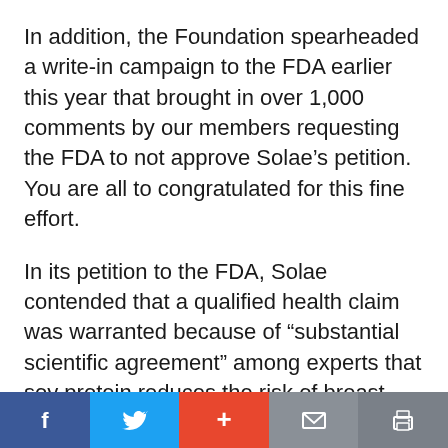In addition, the Foundation spearheaded a write-in campaign to the FDA earlier this year that brought in over 1,000 comments by our members requesting the FDA to not approve Solae's petition. You are all to congratulated for this fine effort.
In its petition to the FDA, Solae contended that a qualified health claim was warranted because of “substantial scientific agreement” among experts that soy protein reduces the risk of breast, prostate and colon cancers. “No such consensus exists,” says Dr. Daniel.
Social share bar: Facebook, Twitter, Plus, Mail, Print